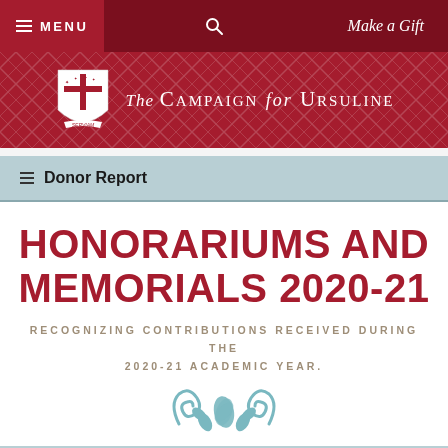MENU | search | Make a Gift
[Figure (logo): The Campaign for Ursuline header banner with shield crest logo on red background with decorative pattern]
Donor Report
HONORARIUMS AND MEMORIALS 2020-21
RECOGNIZING CONTRIBUTIONS RECEIVED DURING THE 2020-21 ACADEMIC YEAR.
[Figure (illustration): Decorative teal/blue flourish ornament at the bottom of the page]